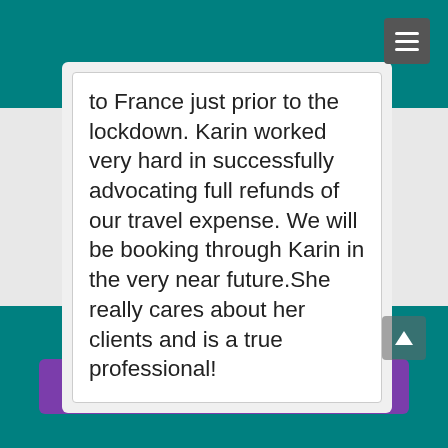to France just prior to the lockdown. Karin worked very hard in successfully advocating full refunds of our travel expense. We will be booking through Karin in the very near future.She really cares about her clients and is a true professional!
Do You Know Karin Evert?
Write a Review